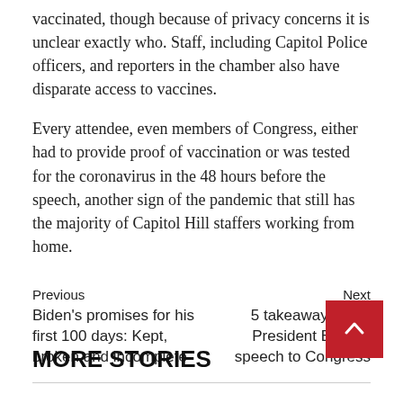vaccinated, though because of privacy concerns it is unclear exactly who. Staff, including Capitol Police officers, and reporters in the chamber also have disparate access to vaccines.
Every attendee, even members of Congress, either had to provide proof of vaccination or was tested for the coronavirus in the 48 hours before the speech, another sign of the pandemic that still has the majority of Capitol Hill staffers working from home.
Previous
Biden’s promises for his first 100 days: Kept, broken and incomplete
Next
5 takeaways from President Biden’s speech to Congress
MORE STORIES